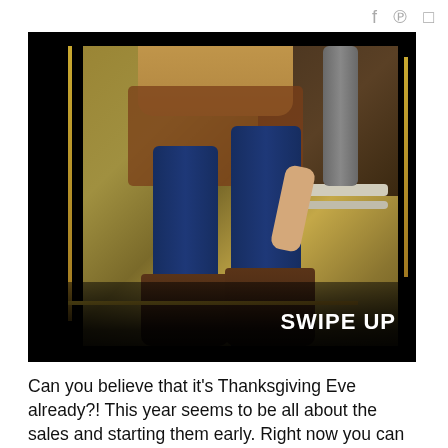f  p  O
[Figure (photo): Photo of a woman's lower body wearing dark blue skinny jeans and brown lace-up boots, standing on a lawn covered with fall leaves. A tree trunk is visible in the background. The photo has a black border overlay with a gold decorative frame. A 'SWIPE UP' text appears at the bottom of the image in bold white letters.]
Can you believe that it's Thanksgiving Eve already?! This year seems to be all about the sales and starting them early. Right now you can shop all of the stores